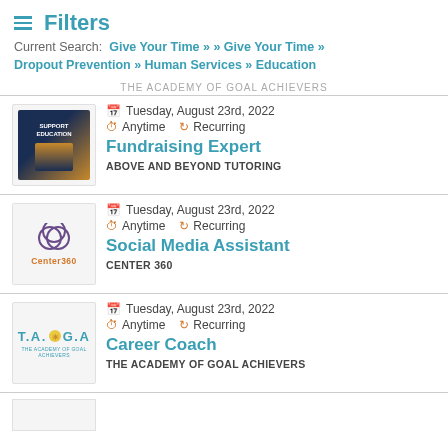Filters — Current Search: Give Your Time » » Give Your Time » Dropout Prevention » Human Services » Education
THE ACADEMY OF GOAL ACHIEVERS (truncated/partially visible)
Tuesday, August 23rd, 2022 | Anytime | Recurring | Fundraising Expert | ABOVE AND BEYOND TUTORING
Tuesday, August 23rd, 2022 | Anytime | Recurring | Social Media Assistant | CENTER 360
Tuesday, August 23rd, 2022 | Anytime | Recurring | Career Coach | THE ACADEMY OF GOAL ACHIEVERS